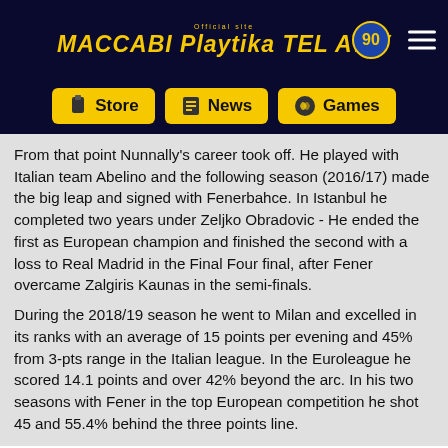Official Maccabi Playtika TEL AVIV
From that point Nunnally's career took off. He played with Italian team Abelino and the following season (2016/17) made the big leap and signed with Fenerbahce. In Istanbul he completed two years under Zeljko Obradovic - He ended the first as European champion and finished the second with a loss to Real Madrid in the Final Four final, after Fener overcame Zalgiris Kaunas in the semi-finals.
During the 2018/19 season he went to Milan and excelled in its ranks with an average of 15 points per evening and 45% from 3-pts range in the Italian league. In the Euroleague he scored 14.1 points and over 42% beyond the arc. In his two seasons with Fener in the top European competition he shot 45 and 55.4% behind the three points line.